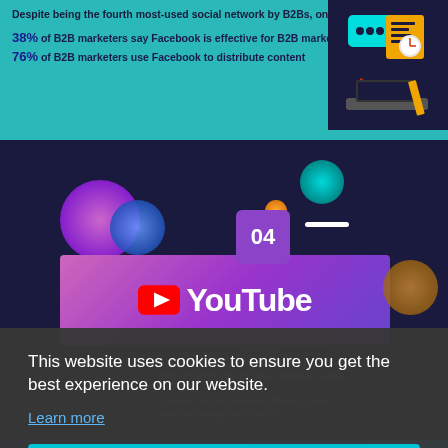Despite being the fourth most-used social network by B2Bs, only
38% of B2B marketers say Facebook is effective for B2B marketing
76% of B2B marketers use Facebook to distribute content
[Figure (infographic): YouTube logo section with purple/pink gradient background and decorative circles, numbered badge '04']
This website uses cookies to ensure you get the best experience on our website.
Learn more
Got it!